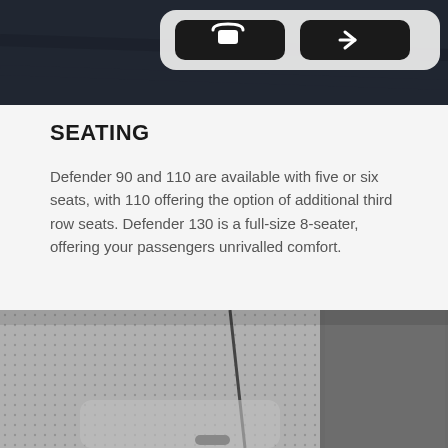[Figure (photo): Top portion of a vehicle interior/exterior photo with two dark UI buttons visible on a light rounded rectangle overlay, and dark fabric/material in the background.]
SEATING
Defender 90 and 110 are available with five or six seats, with 110 offering the option of additional third row seats. Defender 130 is a full-size 8-seater, offering your passengers unrivalled comfort.
[Figure (photo): Close-up photo of grey perforated leather car seat upholstery showing the headrest and backrest seam detail.]